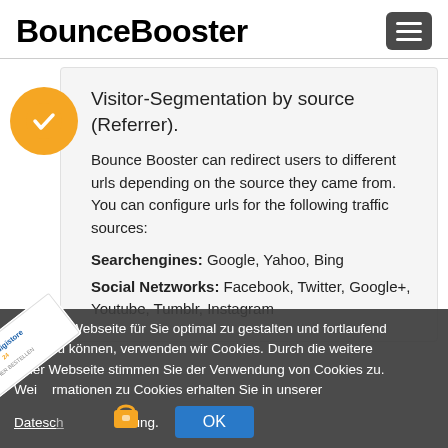BounceBooster
Visitor-Segmentation by source (Referrer).
Bounce Booster can redirect users to different urls depending on the source they came from. You can configure urls for the following traffic sources:
Searchengines: Google, Yahoo, Bing
Social Netzworks: Facebook, Twitter, Google+, Youtube, Tumblr, Instagram
n unsere Webseite für Sie optimal zu gestalten und fortlaufend ssern zu können, verwenden wir Cookies. Durch die weitere der Webseite stimmen Sie der Verwendung von Cookies zu. Wei rmationen zu Cookies erhalten Sie in unserer
Datenschärung. OK